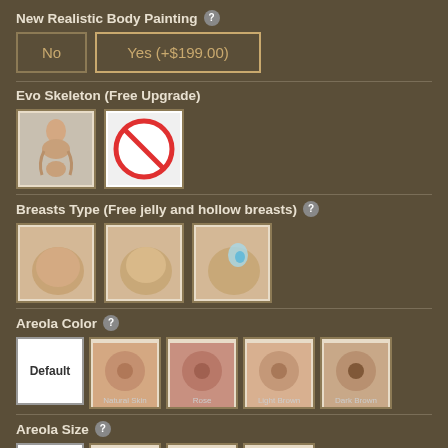New Realistic Body Painting ?
No
Yes (+$199.00)
Evo Skeleton (Free Upgrade)
[Figure (photo): Crouching figure option image]
[Figure (illustration): No/cancel symbol (red circle with diagonal bar)]
Breasts Type (Free jelly and hollow breasts) ?
[Figure (photo): Solid breast type option]
[Figure (photo): Jelly breast type option]
[Figure (photo): Hollow breast type option with blue liquid]
Areola Color ?
[Figure (other): Default areola color option (text box)]
[Figure (photo): Natural skin areola color]
[Figure (photo): Rose areola color]
[Figure (photo): Light brown areola color]
[Figure (photo): Dark brown areola color]
Areola Size ?
[Figure (other): Default areola size option (text box)]
[Figure (photo): 3cm areola size]
[Figure (photo): 4cm areola size]
[Figure (photo): 5cm areola size]
Articulated Finger Joints ?